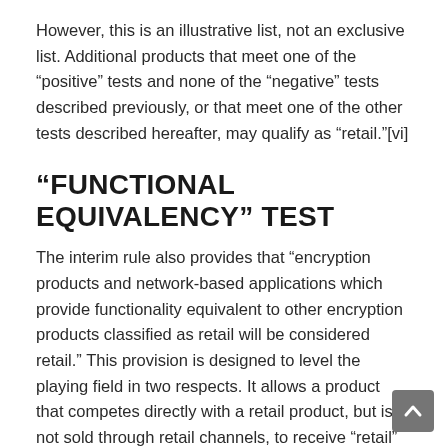However, this is an illustrative list, not an exclusive list. Additional products that meet one of the “positive” tests and none of the “negative” tests described previously, or that meet one of the other tests described hereafter, may qualify as “retail.”[vi]
“FUNCTIONAL EQUIVALENCY” TEST
The interim rule also provides that “encryption products and network-based applications which provide functionality equivalent to other encryption products classified as retail will be considered retail.” This provision is designed to level the playing field in two respects. It allows a product that competes directly with a retail product, but is not sold through retail channels, to receive “retail” export treatment. It also allows companies to offer network-